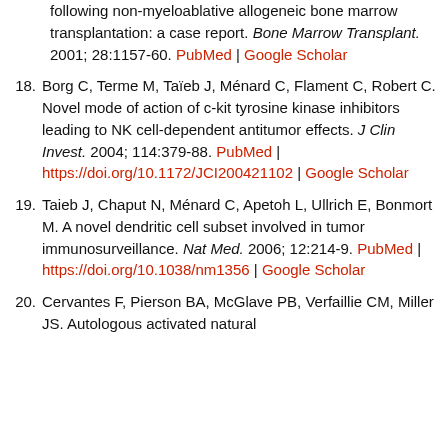following non-myeloablative allogeneic bone marrow transplantation: a case report. Bone Marrow Transplant. 2001; 28:1157-60. PubMed | Google Scholar
18. Borg C, Terme M, Taïeb J, Ménard C, Flament C, Robert C. Novel mode of action of c-kit tyrosine kinase inhibitors leading to NK cell-dependent antitumor effects. J Clin Invest. 2004; 114:379-88. PubMed | https://doi.org/10.1172/JCI200421102 | Google Scholar
19. Taieb J, Chaput N, Ménard C, Apetoh L, Ullrich E, Bonmort M. A novel dendritic cell subset involved in tumor immunosurveillance. Nat Med. 2006; 12:214-9. PubMed | https://doi.org/10.1038/nm1356 | Google Scholar
20. Cervantes F, Pierson BA, McGlave PB, Verfaillie CM, Miller JS. Autologous activated natural